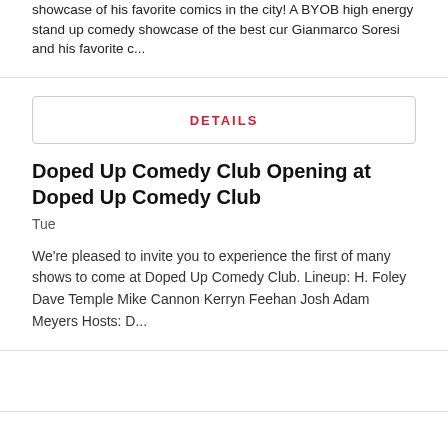showcase of his favorite comics in the city! A BYOB high energy stand up comedy showcase of the best cur Gianmarco Soresi and his favorite c...
DETAILS
Doped Up Comedy Club Opening at Doped Up Comedy Club
Tue
We're pleased to invite you to experience the first of many shows to come at Doped Up Comedy Club. Lineup: H. Foley Dave Temple Mike Cannon Kerryn Feehan Josh Adam Meyers Hosts: D...